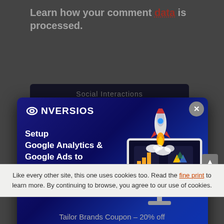Learn how your comment data is processed.
[Figure (screenshot): Social Interactions widget showing 0 and 159 counts, partially visible behind modal]
[Figure (screenshot): CONVERSIOS popup modal with dark blue gradient background. Logo reads CONVERSIOS with infinity icon. Headline: Setup Google Analytics & Google Ads to Scale Faster. Right side shows illustration of computer monitor with Google Analytics and Google Ads logos and a rocket launching. Blue 'Try Now >>' button at bottom left. Gray X close button top right.]
Like every other site, this one uses cookies too. Read the fine print to learn more. By continuing to browse, you agree to our use of cookies.
Tailor Brands Coupon – 20% off